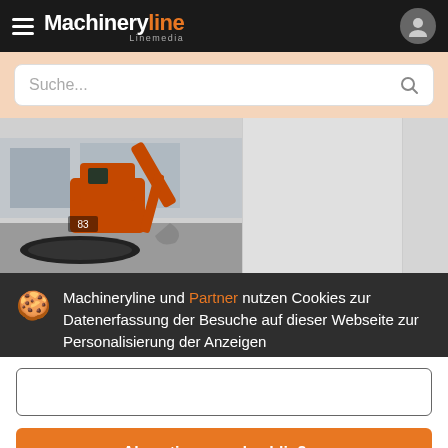Machineryline Linemedia
Suche...
[Figure (photo): Orange Kubota mini excavator photographed outdoors on a concrete surface, with a building in the background.]
KUBOTA U27-4/ BJ2014 / mit 1688h / TOP ZUSTAND
25.... €
Minibagger
Jahr: 2014
Machineryline und Partner nutzen Cookies zur Datenerfassung der Besuche auf dieser Webseite zur Personalisierung der Anzeigen
Details
Deutschland, Niederheidm...
Akzeptieren und schließen